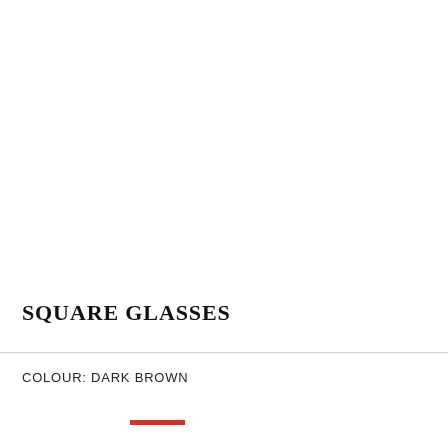SQUARE GLASSES
COLOUR: DARK BROWN